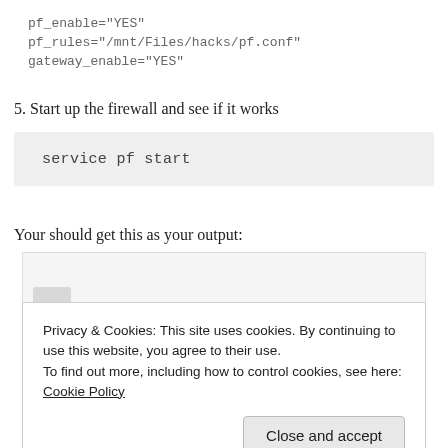pf_enable="YES"
pf_rules="/mnt/Files/hacks/pf.conf"
gateway_enable="YES"
5. Start up the firewall and see if it works
service pf start
Your should get this as your output:
[Figure (screenshot): Screenshot showing command output, partially visible behind cookie banner]
Privacy & Cookies: This site uses cookies. By continuing to use this website, you agree to their use.
To find out more, including how to control cookies, see here: Cookie Policy